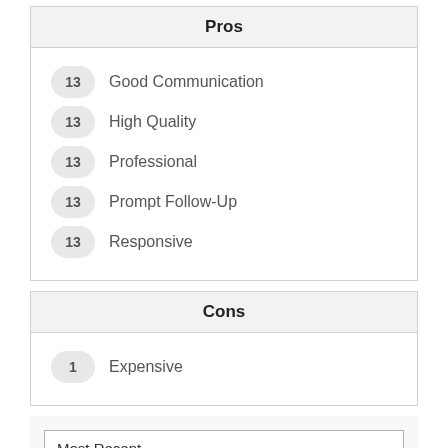Pros
13 Good Communication
13 High Quality
13 Professional
13 Prompt Follow-Up
13 Responsive
Cons
1 Expensive
Most Recent